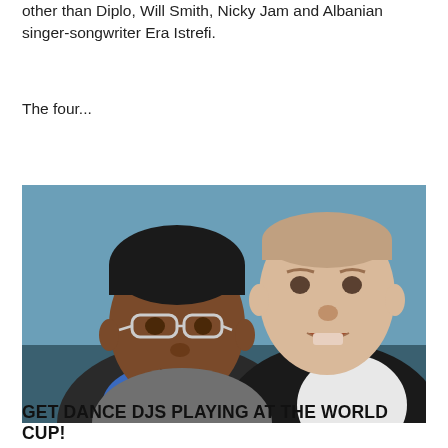other than Diplo, Will Smith, Nicky Jam and Albanian singer-songwriter Era Istrefi.
The four...
[Figure (photo): Two men posing together in front of a blue background. The man on the left has glasses and is wearing a dark hoodie with a blue shirt. The man on the right is wearing a dark blazer with a white shirt.]
GET DANCE DJS PLAYING AT THE WORLD CUP!